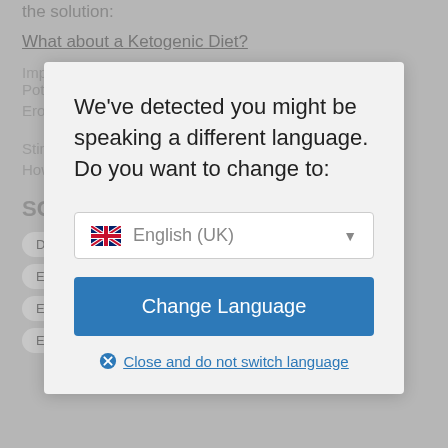the solution:
What about a Ketogenic Diet?
Impo... Poten...
Eroxe... al Stimu...
How ...
SCH...
[Figure (screenshot): Language detection modal dialog with English (UK) dropdown and Change Language button]
We've detected you might be speaking a different language. Do you want to change to:
English (UK)
Change Language
Close and do not switch language
Doe...
Erectile Dysfunction Self Healing
Eroxel 30 Capsules
Eroxel 500mg
Eroxel 520mg
Eroxel-Kapsel
Eroxel dietary supplement
Eroxel emag